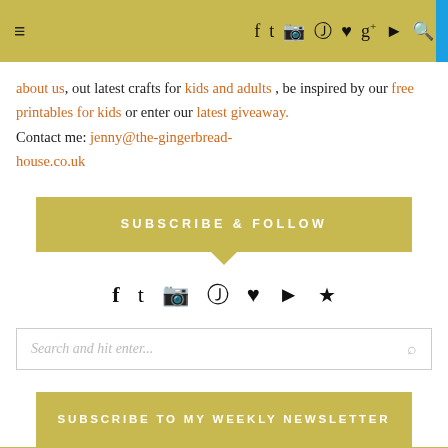≡  f  𝕥  📷  𝕡  ♥  g+  ▶  🔍
about us, out latest crafts for kids and adults , be inspired by our free printables for kids or enter our latest giveaway.
Contact me: jenny@the-gingerbread-house.co.uk
SUBSCRIBE & FOLLOW
[Figure (infographic): Row of social media icons: Facebook, Twitter, Instagram, Pinterest, Heart/Bloglovin, YouTube, RSS]
[Figure (infographic): Search box with placeholder text 'Search and hit enter...' and a search icon]
SUBSCRIBE TO MY WEEKLY NEWSLETTER